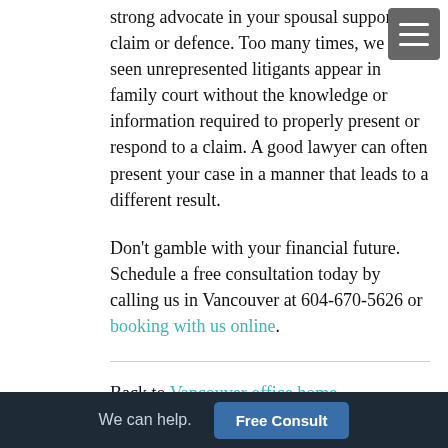strong advocate in your spousal support claim or defence. Too many times, we have seen unrepresented litigants appear in family court without the knowledge or information required to properly present or respond to a claim. A good lawyer can often present your case in a manner that leads to a different result.
Don't gamble with your financial future. Schedule a free consultation today by calling us in Vancouver at 604-670-5626 or booking with us online.
Back to Vancouver office home...
We can help.  Free Consult